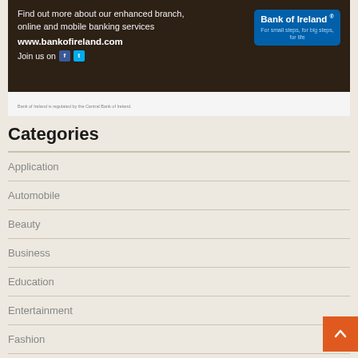[Figure (other): Bank of Ireland advertisement banner with dark wood background. Text reads: 'Find out more about our enhanced branch, online and mobile banking services www.bankofireland.com Join us on [Facebook] [Twitter]'. Bank of Ireland logo box in blue on the right with tagline 'For small steps, for big steps, for life'.]
Bank of Ireland is regulated by the Central Bank of Ireland.
Categories
Application
Automobile
Beauty
Business
Education
Entertainment
Fashion
Finance
Furniture